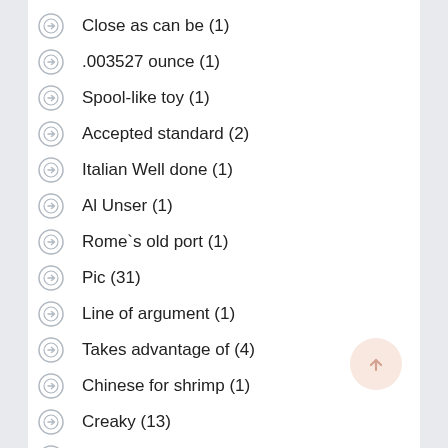Close as can be (1)
.003527 ounce (1)
Spool-like toy (1)
Accepted standard (2)
Italian Well done (1)
Al Unser (1)
Rome`s old port (1)
Pic (31)
Line of argument (1)
Takes advantage of (4)
Chinese for shrimp (1)
Creaky (13)
Fence`s forte (1)
Chinese detective novel (1)
Crewman (15)